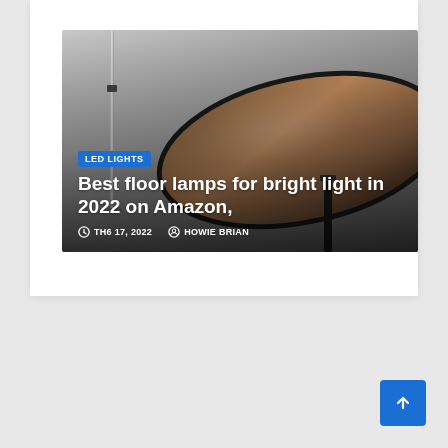[Figure (photo): Hero image of a modern floor lamp with a large round dark bronze disc shade on a black stand, shown against a gradient grey background. A tall slim lamp pole is visible on the left side.]
LED LIGHTS
Best floor lamps for bright light in 2022 on Amazon,
TH6 17, 2022   HOWIE BRIAN
[Figure (other): Scroll to top blue button with upward arrow]